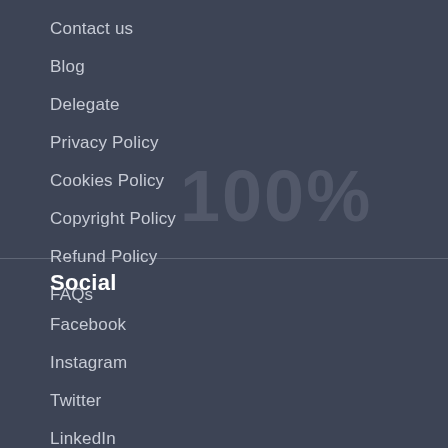Contact us
Blog
Delegate
Privacy Policy
Cookies Policy
Copyright Policy
Refund Policy
FAQs
Social
Facebook
Instagram
Twitter
LinkedIn